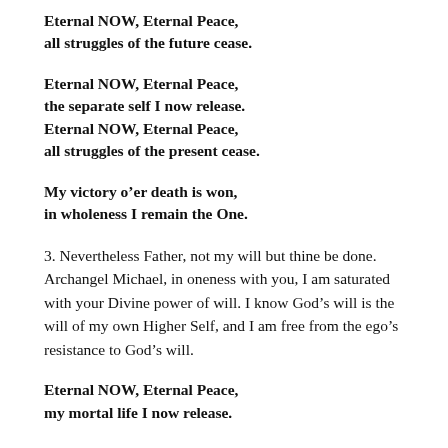Eternal NOW, Eternal Peace,
all struggles of the future cease.
Eternal NOW, Eternal Peace,
the separate self I now release.
Eternal NOW, Eternal Peace,
all struggles of the present cease.
My victory o’er death is won,
in wholeness I remain the One.
3. Nevertheless Father, not my will but thine be done. Archangel Michael, in oneness with you, I am saturated with your Divine power of will. I know God’s will is the will of my own Higher Self, and I am free from the ego’s resistance to God’s will.
Eternal NOW, Eternal Peace,
my mortal life I now release.